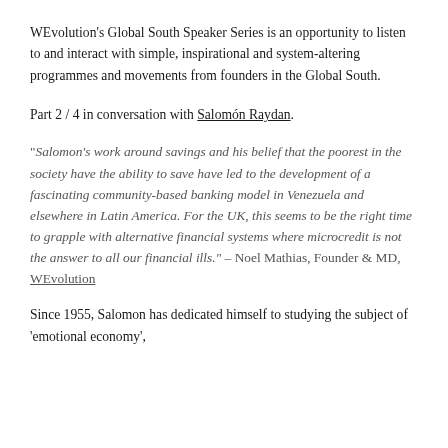WEvolution's Global South Speaker Series is an opportunity to listen to and interact with simple, inspirational and system-altering programmes and movements from founders in the Global South.
Part 2 / 4 in conversation with Salomón Raydan.
"Salomon's work around savings and his belief that the poorest in the society have the ability to save have led to the development of a fascinating community-based banking model in Venezuela and elsewhere in Latin America. For the UK, this seems to be the right time to grapple with alternative financial systems where microcredit is not the answer to all our financial ills." – Noel Mathias, Founder & MD, WEvolution
Since 1955, Salomon has dedicated himself to studying the subject of 'emotional economy',